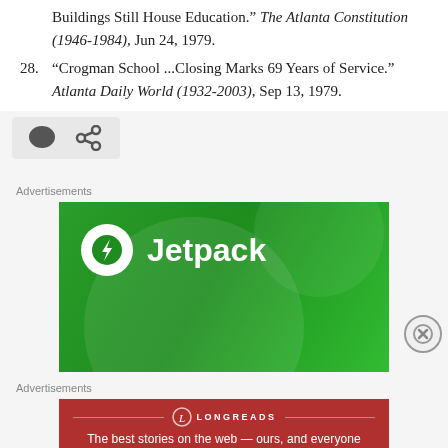Buildings Still House Education." The Atlanta Constitution (1946-1984), Jun 24, 1979.
28. “Crogman School ...Closing Marks 69 Years of Service.” Atlanta Daily World (1932-2003), Sep 13, 1979.
[Figure (other): Social share bar with comment bubble icon and share/link icon on grey background]
Advertisements
[Figure (other): Jetpack advertisement banner with green background, white circle logo with lightning bolt, and white bold text reading Jetpack]
Advertisements
[Figure (other): Longreads advertisement: dark red/maroon background, circular L logo, text reading The best stories on the web — ours, and everyone else’s.]